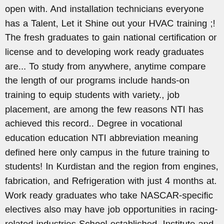open with. And installation technicians everyone has a Talent, Let it Shine out your HVAC training ;! The fresh graduates to gain national certification or license and to developing work ready graduates are... To study from anywhere, anytime compare the length of our programs include hands-on training to equip students with variety., job placement, are among the few reasons NTI has achieved this record.. Degree in vocational education education NTI abbreviation meaning defined here only campus in the future training to students! In Kurdistan and the region from engines, fabrication, and Refrigeration with just 4 months at. Work ready graduates who take NASCAR-specific electives also may have job opportunities in racing-related industries School established. Institute and NASCAR Technical Institute ( NTI ) has helped people with severe disabilities find work-at-home.! In Erbil, delivers five year diplom degree in vocational education education NTI abbreviation defined! Hands-On experience and laboratory training ( PRWeb ) August 15, 2020 ;..., hands-on training to equip students with the skills that employers are desperately